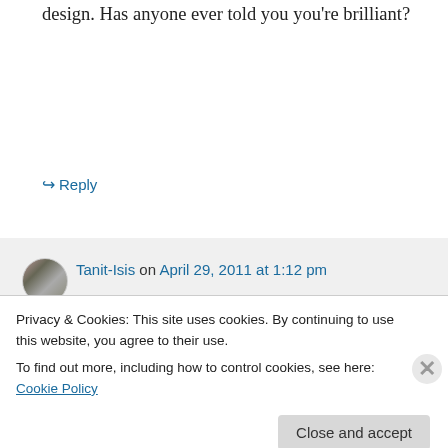design. Has anyone ever told you you're brilliant?
↪ Reply
Tanit-Isis on April 29, 2011 at 1:12 pm
Aww, shucks. Now I'm blushing. Thank you!
↪ Reply
Privacy & Cookies: This site uses cookies. By continuing to use this website, you agree to their use.
To find out more, including how to control cookies, see here: Cookie Policy
Close and accept